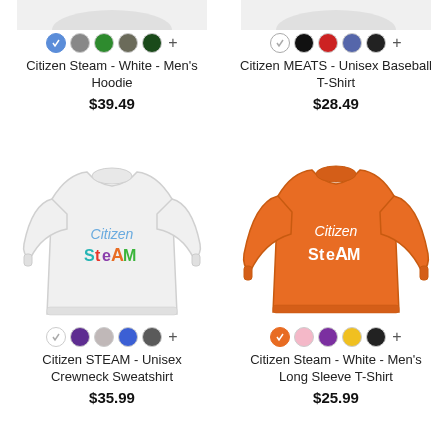[Figure (photo): Top portion of white men's hoodie with Citizen Steam logo (cropped at top)]
Citizen Steam - White - Men's Hoodie
$39.49
[Figure (photo): Top portion of unisex baseball T-shirt with Citizen MEATS logo (cropped at top)]
Citizen MEATS - Unisex Baseball T-Shirt
$28.49
[Figure (photo): White unisex crewneck sweatshirt with colorful Citizen STEAM logo]
Citizen STEAM - Unisex Crewneck Sweatshirt
$35.99
[Figure (photo): Orange men's long sleeve T-shirt with white Citizen STEAM logo]
Citizen Steam - White - Men's Long Sleeve T-Shirt
$25.99